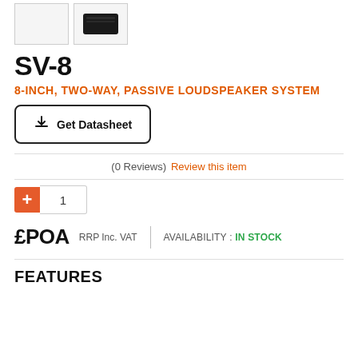[Figure (photo): Two product thumbnail images: first is a blank white thumbnail, second shows a black loudspeaker cabinet from top-down angle]
SV-8
8-INCH, TWO-WAY, PASSIVE LOUDSPEAKER SYSTEM
Get Datasheet (button)
(0 Reviews)  Review this item
Quantity: 1
£POA  RRP Inc. VAT  |  AVAILABILITY : IN STOCK
FEATURES